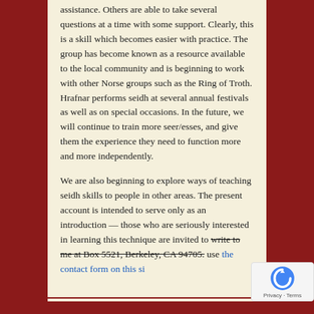assistance. Others are able to take several questions at a time with some support. Clearly, this is a skill which becomes easier with practice. The group has become known as a resource available to the local community and is beginning to work with other Norse groups such as the Ring of Troth. Hrafnar performs seidh at several annual festivals as well as on special occasions. In the future, we will continue to train more seer/esses, and give them the experience they need to function more and more independently.

We are also beginning to explore ways of teaching seidh skills to people in other areas. The present account is intended to serve only as an introduction — those who are seriously interested in learning this technique are invited to [strikethrough: write to me at Box 5521, Berkeley, CA 94705.] use the contact form on this si[te]